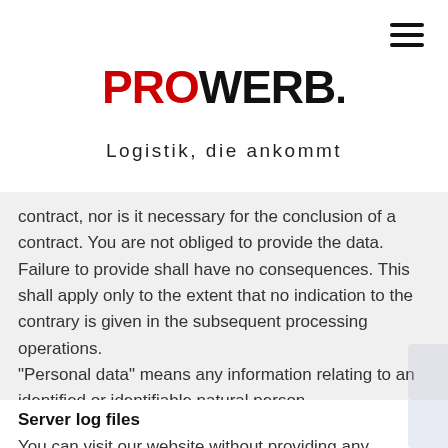[hamburger menu icon]
[Figure (logo): PROWERB logo with PRO in red and WERB in black, bold, large sans-serif font]
Logistik, die ankommt
contract, nor is it necessary for the conclusion of a contract. You are not obliged to provide the data. Failure to provide shall have no consequences. This shall apply only to the extent that no indication to the contrary is given in the subsequent processing operations. "Personal data" means any information relating to an identified or identifiable natural person.
Server log files
You can visit our website without providing any personal information.
Every time you access our website, usage data is transmitted to us as our web hoster / IT service